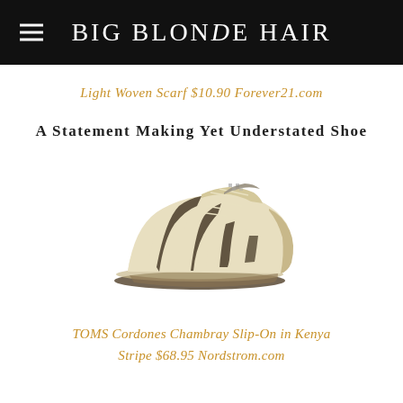BIG BLONDe HAIR
Light Woven Scarf $10.90 Forever21.com
A Statement Making Yet Understated Shoe
[Figure (photo): TOMS Cordones Chambray Slip-On shoe in Kenya Stripe pattern — a lace-up canvas sneaker with cream and dark brown/charcoal diagonal stripes and espadrille-style sole, photographed on white background.]
TOMS Cordones Chambray Slip-On in Kenya Stripe $68.95 Nordstrom.com